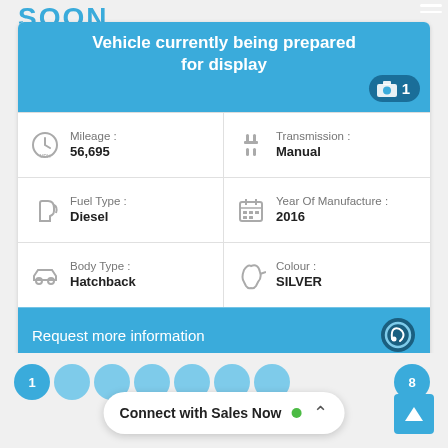Vehicle currently being prepared for display
Mileage : 56,695
Transmission : Manual
Fuel Type : Diesel
Year Of Manufacture : 2016
Body Type : Hatchback
Colour : SILVER
Request more information
Vehicle details
1
8
Connect with Sales Now